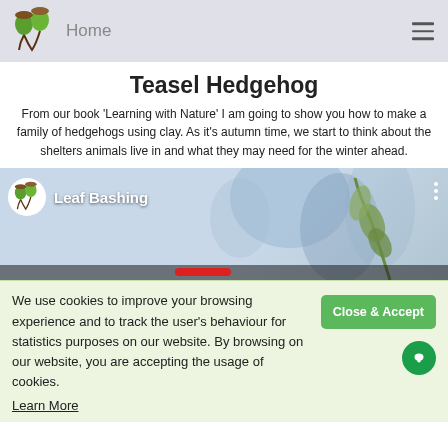Home
Teasel Hedgehog
From our book ‘Learning with Nature’ I am going to show you how to make a family of hedgehogs using clay. As it’s autumn time, we start to think about the shelters animals live in and what they may need for the winter ahead.
[Figure (screenshot): Video thumbnail showing 'Leaf Bashing' channel with nature/floral background, channel logo, three-dot menu, and a red play button bar at bottom.]
We use cookies to improve your browsing experience and to track the user’s behaviour for statistics purposes on our website. By browsing on our website, you are accepting the usage of cookies.
Learn More